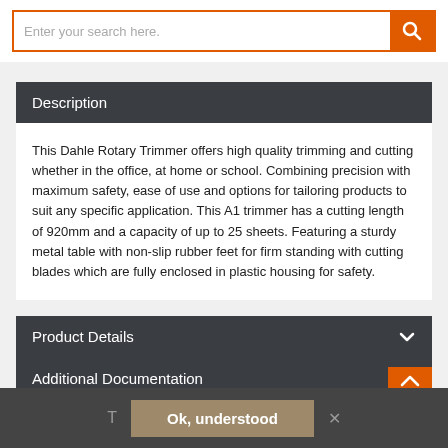[Figure (screenshot): Search bar with orange border and orange search button icon]
Description
This Dahle Rotary Trimmer offers high quality trimming and cutting whether in the office, at home or school. Combining precision with maximum safety, ease of use and options for tailoring products to suit any specific application. This A1 trimmer has a cutting length of 920mm and a capacity of up to 25 sheets. Featuring a sturdy metal table with non-slip rubber feet for firm standing with cutting blades which are fully enclosed in plastic housing for safety.
Product Details
Additional Documentation
Ok, understood